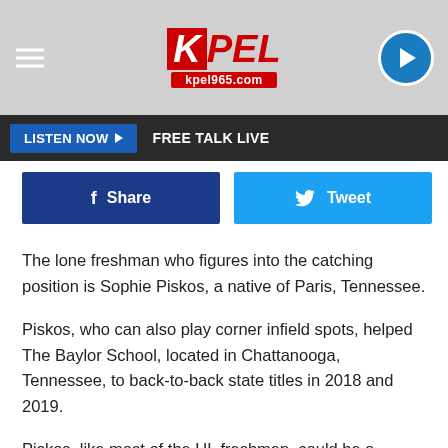[Figure (logo): KPEL kpel965.com radio station logo with hamburger menu and play button]
LISTEN NOW ▶   FREE TALK LIVE
Share   Tweet
The lone freshman who figures into the catching position is Sophie Piskos, a native of Paris, Tennessee.
Piskos, who can also play corner infield spots, helped The Baylor School, located in Chattanooga, Tennessee, to back-to-back state titles in 2018 and 2019.
Piskos, like most of the UL freshmen, could be a redshirt candidate, in which case she'll have four seasons of eligibility remaining, beginning in 2022.
If she's not redshirted, Piskos could be a valuable bench